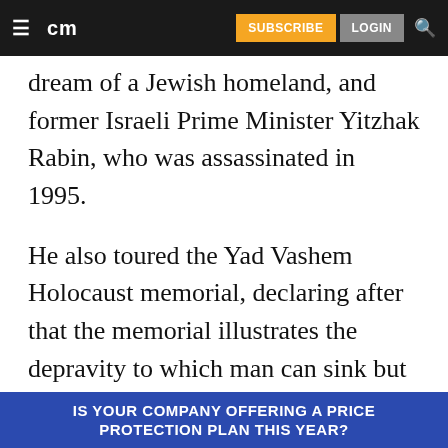☰ cm  SUBSCRIBE  LOGIN  🔍
dream of a Jewish homeland, and former Israeli Prime Minister Yitzhak Rabin, who was assassinated in 1995.
He also toured the Yad Vashem Holocaust memorial, declaring after that the memorial illustrates the depravity to which man can sink but also serves as a reminder of the “righteous among nations who refused to be bystanders.”
Friday’s stop at Herzl’s grave, together with Thursday’s visit to see the Dead Sea Scrolls,
IS YOUR COMPANY OFFERING A PRICE PROTECTION PLAN THIS YEAR?